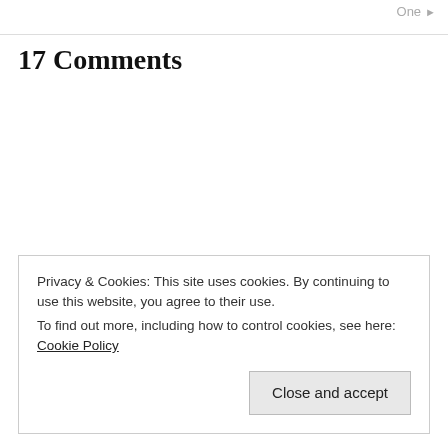One ▶
17 Comments
Privacy & Cookies: This site uses cookies. By continuing to use this website, you agree to their use.
To find out more, including how to control cookies, see here: Cookie Policy
Close and accept